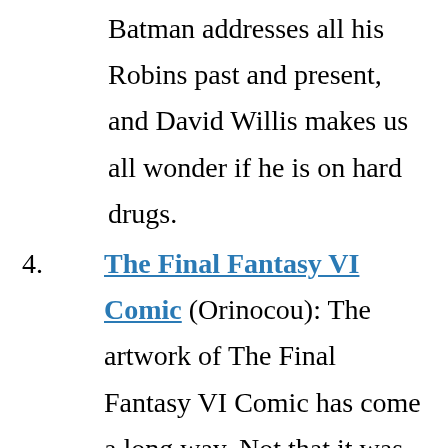Batman addresses all his Robins past and present, and David Willis makes us all wonder if he is on hard drugs.
4. The Final Fantasy VI Comic (Orinocou): The artwork of The Final Fantasy VI Comic has come a long way. Not that it was shabby at all to begin with, but pages like this one really showcase Ori’s artistic growth after three years of persistent cartooning.
The great thing about The FFVI Comic is